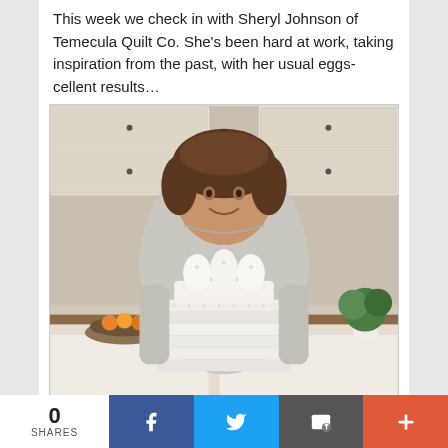This week we check in with Sheryl Johnson of Temecula Quilt Co. She's been hard at work, taking inspiration from the past, with her usual eggs-cellent results…
[Figure (photo): A woman with short brown hair wearing a grey sweatshirt stands in a kitchen holding a stack of folded white quilts/fabrics topped with a white ceramic egg holder with decorative eggs.]
0 SHARES | Facebook share | Twitter share | Email share | More share